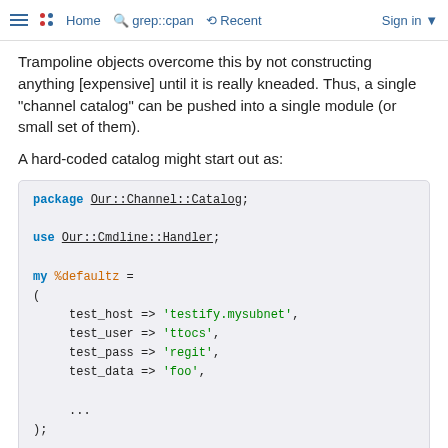Home  grep::cpan  Recent  Sign in
Trampoline objects overcome this by not constructing anything [expensive] until it is really kneaded. Thus, a single "channel catalog" can be pushed into a single module (or small set of them).
A hard-coded catalog might start out as:
[Figure (screenshot): Perl code block showing: package Our::Channel::Catalog; use Our::Cmdline::Handler; my %defaultz = ( test_host => 'testify.mysubnet', test_user => 'ttocs', test_pass => 'regit', test_data => 'foo', ... ); my $cmdline = Our::Cmdline::Handler->construct(]